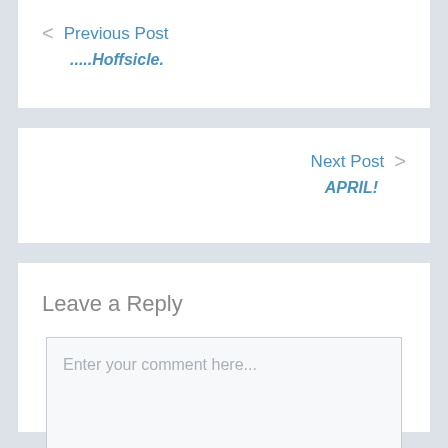< Previous Post .....Hoffsicle.
Next Post > APRIL!
Leave a Reply
Enter your comment here...